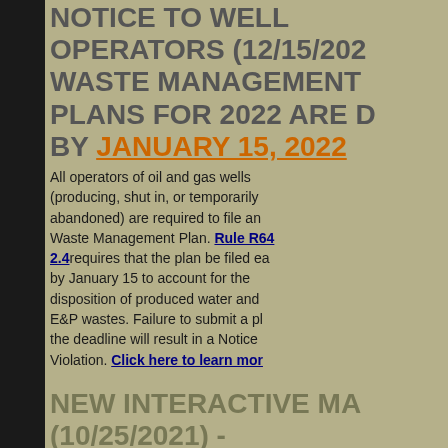NOTICE TO WELL OPERATORS (12/15/2021) - WASTE MANAGEMENT PLANS FOR 2022 ARE DUE BY JANUARY 15, 2022
All operators of oil and gas wells (producing, shut in, or temporarily abandoned) are required to file an annual Waste Management Plan. Rule R649-9-2.4 requires that the plan be filed each year by January 15 to account for the disposition of produced water and other E&P wastes. Failure to submit a plan by the deadline will result in a Notice of Violation. Click here to learn more.
NEW INTERACTIVE MAP (10/25/2021) - UTAH's OIL AND GAS INDUSTRY OVER TIME
Cat Schooley, from the Utah Oil, Gas & Mining division has made a new interactive map to help illustrate Utah's Oil and Gas activity over time. Click here to check it out! You can also find a link to the map on our "Map Resources".